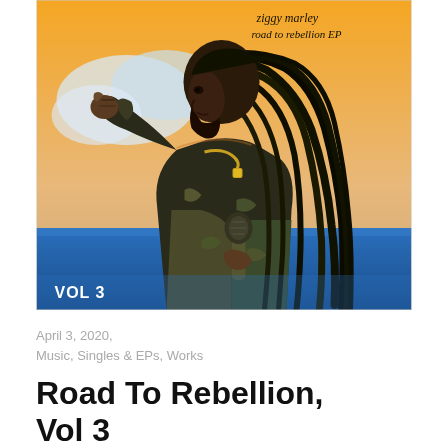[Figure (illustration): Album cover art for Ziggy Marley's Road to Rebellion EP, Vol 3. A stylized pop-art illustration of a man with long dreadlocks holding a microphone, set against an orange sky with blue ocean. Text on the cover reads 'ziggy marley road to rebellion EP' in the top right corner and 'VOL 3' in the bottom left.]
April 3, 2020,
Music, Singles & EPs, Works
Road To Rebellion, Vol 3